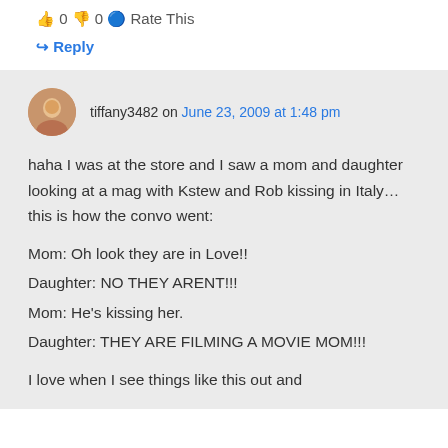👍 0 👎 0 🔵 Rate This
↪ Reply
tiffany3482 on June 23, 2009 at 1:48 pm
haha I was at the store and I saw a mom and daughter looking at a mag with Kstew and Rob kissing in Italy… this is how the convo went:
Mom: Oh look they are in Love!!
Daughter: NO THEY ARENT!!!
Mom: He's kissing her.
Daughter: THEY ARE FILMING A MOVIE MOM!!!

I love when I see things like this out and